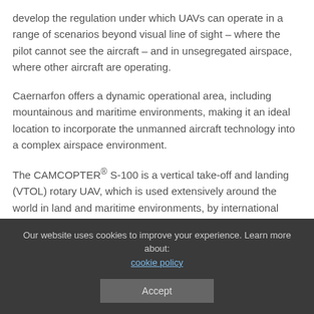develop the regulation under which UAVs can operate in a range of scenarios beyond visual line of sight – where the pilot cannot see the aircraft – and in unsegregated airspace, where other aircraft are operating.
Caernarfon offers a dynamic operational area, including mountainous and maritime environments, making it an ideal location to incorporate the unmanned aircraft technology into a complex airspace environment.
The CAMCOPTER® S-100 is a vertical take-off and landing (VTOL) rotary UAV, which is used extensively around the world in land and maritime environments, by international agencies such as the European Maritime Safety Agency.
Our website uses cookies to improve your experience. Learn more about: cookie policy
Accept